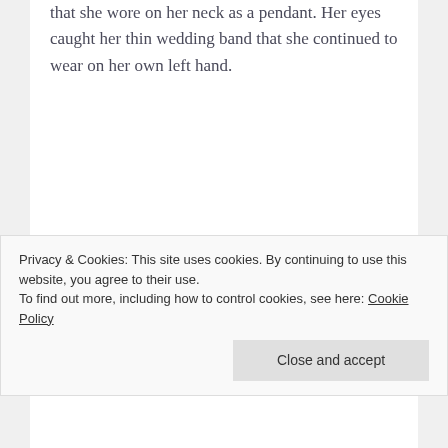that she wore on her neck as a pendant. Her eyes caught her thin wedding band that she continued to wear on her own left hand.
“Mommy, are we bringing my swimsuit?” Mira’s question forced her out of her thoughts. Nodding her head to indicate that they indeed were, Khushi slowly pulled into Lavanya’s driveway.
Privacy & Cookies: This site uses cookies. By continuing to use this website, you agree to their use.
To find out more, including how to control cookies, see here: Cookie Policy
Close and accept